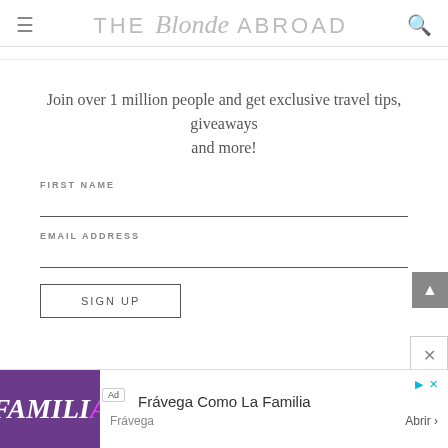THE Blonde ABROAD
Join over 1 million people and get exclusive travel tips, giveaways and more!
FIRST NAME
EMAIL ADDRESS
SIGN UP
[Figure (screenshot): Ad banner: Frávega Como La Familia advertisement with purple background image, Ad label, title 'Frávega Como La Familia', subtitle 'Frávega', and 'Abrir' call-to-action button]